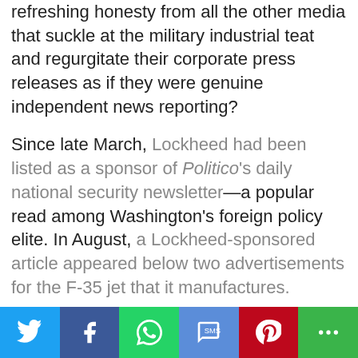refreshing honesty from all the other media that suckle at the military industrial teat and regurgitate their corporate press releases as if they were genuine independent news reporting?
Since late March, Lockheed had been listed as a sponsor of Politico's daily national security newsletter—a popular read among Washington's foreign policy elite. In August, a Lockheed-sponsored article appeared below two advertisements for the F-35 jet that it manufactures.
The most recent Ukraine piece–which was curiously taken down on Tuesday after Tucker Carlson discussed the article on Fox News–quoted from a senior House Republican staffer who